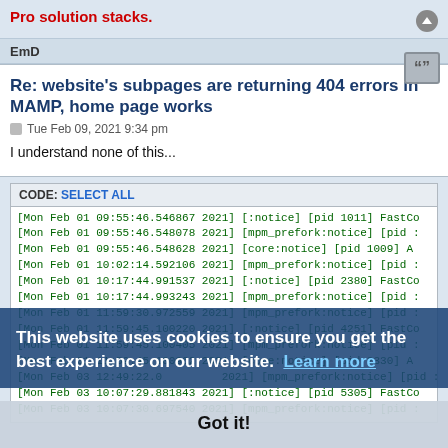Pro solution stacks.
EmD
Re: website's subpages are returning 404 errors in MAMP, home page works
Tue Feb 09, 2021 9:34 pm
I understand none of this...
CODE: SELECT ALL
[Mon Feb 01 09:55:46.546867 2021] [:notice] [pid 1011] FastCo
[Mon Feb 01 09:55:46.548078 2021] [mpm_prefork:notice] [pid :
[Mon Feb 01 09:55:46.548628 2021] [core:notice] [pid 1009] A
[Mon Feb 01 10:02:14.592106 2021] [mpm_prefork:notice] [pid :
[Mon Feb 01 10:17:44.991537 2021] [:notice] [pid 2380] FastCo
[Mon Feb 01 10:17:44.993243 2021] [mpm_prefork:notice] [pid :
[Mon Feb 01 11:59:30.972559 2021] [mpm_prefork:notice] [pid :
[Mon Feb 01 11:59:45.100220 2021] [:notice] [pid 4251] FastCo
[Mon Feb 01 11:59:45.100405 2021] [mpm_prefork:notice] [pid :
[Mon Feb 01 11:59:45.100962 2021] [core:notice] [pid 2330] A
[Mon Feb 03 12:49:22.0_ 2021] [mpm_prefork:notice] [pid :
[Mon Feb 03 10:07:29.881843 2021] [:notice] [pid 5305] FastCo
[Mon Feb 03 10:07:30.697540 2021] [mpm_prefork:notice] [pid :
This website uses cookies to ensure you get the best experience on our website. Learn more
Got it!